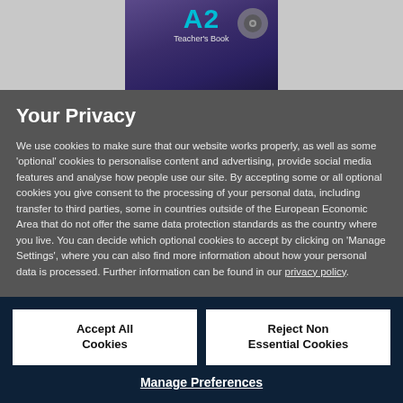[Figure (illustration): Partial view of a textbook cover showing 'A2 Teacher's Book' text on a purple/dark background with a small circular icon]
Your Privacy
We use cookies to make sure that our website works properly, as well as some 'optional' cookies to personalise content and advertising, provide social media features and analyse how people use our site. By accepting some or all optional cookies you give consent to the processing of your personal data, including transfer to third parties, some in countries outside of the European Economic Area that do not offer the same data protection standards as the country where you live. You can decide which optional cookies to accept by clicking on 'Manage Settings', where you can also find more information about how your personal data is processed. Further information can be found in our privacy policy.
Accept All Cookies
Reject Non Essential Cookies
Manage Preferences